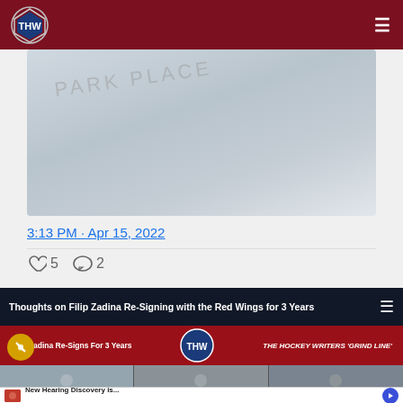THW - The Hockey Writers
[Figure (photo): Blurred image of a card or document, possibly a business card with 'PARK PLACE' text visible]
3:13 PM · Apr 15, 2022
5 likes, 2 comments
[Figure (screenshot): THW video banner: Thoughts on Filip Zadina Re-Signing with the Red Wings for 3 Years. Shows Filip Zadina Re-Signs For 3 Years with THW Grind Line panel.]
[Figure (photo): Video panel with three people shown in thumbnails]
[Figure (other): Advertisement: New Hearing Discovery is... n/a]